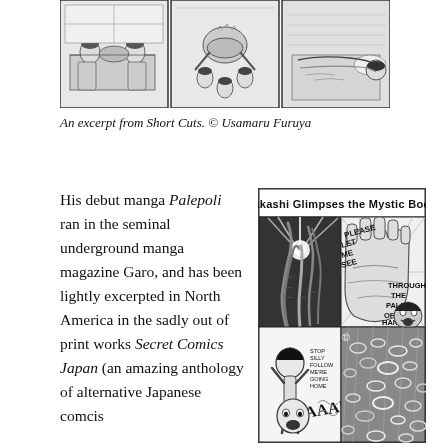[Figure (illustration): Three manga comic strip panels showing people around a table eating/drinking, and a person lying down. Black and white manga art from Short Cuts.]
An excerpt from Short Cuts. © Usamaru Furuya
His debut manga Palepoli ran in the seminal underground manga magazine Garo, and has been lightly excerpted in North America in the sadly out of print works Secret Comics Japan (an amazing anthology of alternative Japanese comcis
[Figure (illustration): Manga panels titled 'Takashi Glimpses the Mystic Body' showing surreal imagery including elongated plant-like forms, a hand with text 'PLEASE LET ME SEE THROUGH THE PALM OF MY HAND!', a person screaming, and abstract circular shapes falling.]